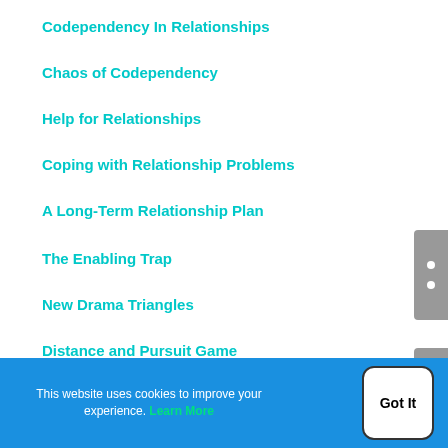Codependency In Relationships
Chaos of Codependency
Help for Relationships
Coping with Relationship Problems
A Long-Term Relationship Plan
The Enabling Trap
New Drama Triangles
Distance and Pursuit Game
Conflict Resolution Tips
This website uses cookies to improve your experience. Learn More
Got It